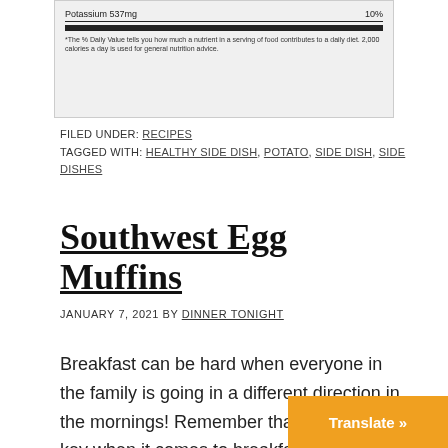[Figure (other): Partial nutrition facts label showing Potassium 537mg 10%, with a thick black divider and a footnote about % Daily Value.]
FILED UNDER: RECIPES
TAGGED WITH: HEALTHY SIDE DISH, POTATO, SIDE DISH, SIDE DISHES
Southwest Egg Muffins
JANUARY 7, 2021 BY DINNER TONIGHT
Breakfast can be hard when everyone in the family is going in a different direction in the mornings! Remember that planning is key when it comes to breakfast. Try making large batches of egg muffins on Sunday and refrigerate and freeze